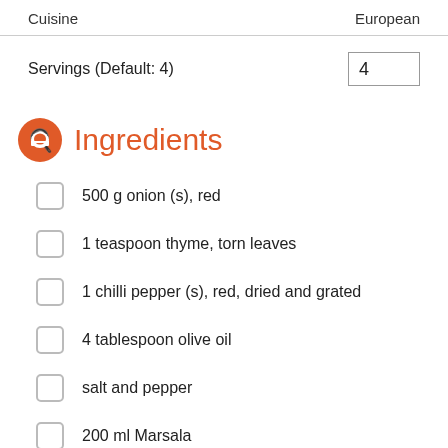| Cuisine | European |
| --- | --- |
Servings (Default: 4)   4
Ingredients
500 g onion (s), red
1 teaspoon thyme, torn leaves
1 chilli pepper (s), red, dried and grated
4 tablespoon olive oil
salt and pepper
200 ml Marsala
500 g spabotti